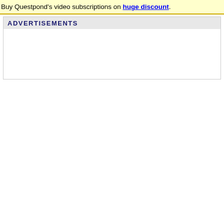Buy Questpond's video subscriptions on huge discount.
ADVERTISEMENTS